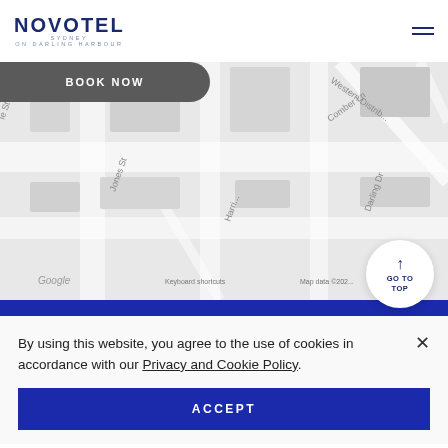NOVOTEL SYDNEY ON DARLING HARBOUR
[Figure (map): Google Maps view showing street map around Darling Harbour, Sydney. Visible streets include Jones St, Harris St (partial), Darling Dr, Comber Ln, Western Distrib... Labels: Google, Keyboard shortcuts, Map data ©2020]
BOOK NOW
GO TO TOP
By using this website, you agree to the use of cookies in accordance with our Privacy and Cookie Policy.
ACCEPT